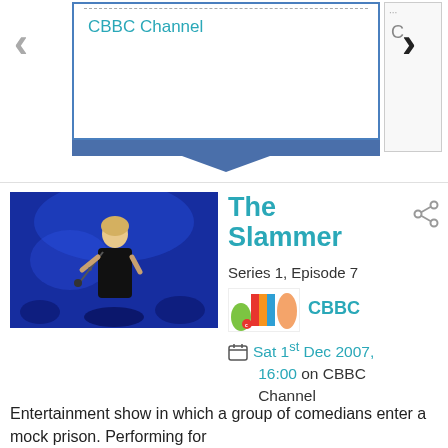CBBC Channel
[Figure (screenshot): Screenshot of a TV guide interface showing a tooltip popup with 'CBBC Channel' label, navigation arrows on left and right]
[Figure (photo): Photo of a performer singing into a microphone on a blue-lit stage]
The Slammer
Series 1, Episode 7
[Figure (logo): CBBC channel logo]
CBBC
Sat 1st Dec 2007, 16:00 on CBBC Channel
Entertainment show in which a group of comedians enter a mock prison. Performing for